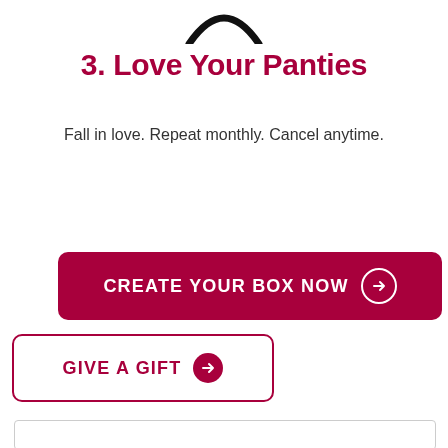[Figure (logo): Partial view of a heart/checkmark logo at the top center of the page]
3. Love Your Panties
Fall in love. Repeat monthly. Cancel anytime.
CREATE YOUR BOX NOW →
GIVE A GIFT →